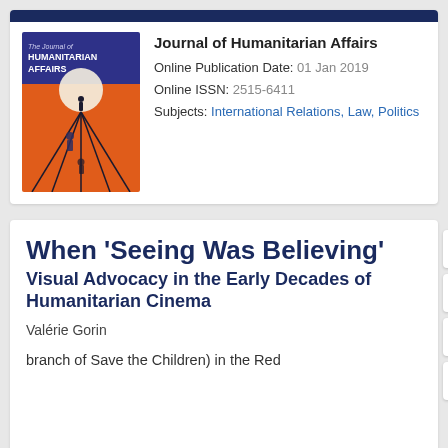[Figure (illustration): Cover of The Journal of Humanitarian Affairs — purple/blue header with white text, orange background with silhouette figures and converging lines]
Journal of Humanitarian Affairs
Online Publication Date:  01 Jan 2019
Online ISSN:  2515-6411
Subjects:  International Relations, Law, Politics
When ‘Seeing Was Believing’
Visual Advocacy in the Early Decades of Humanitarian Cinema
Valérie Gorin
branch of Save the Children) in the Red